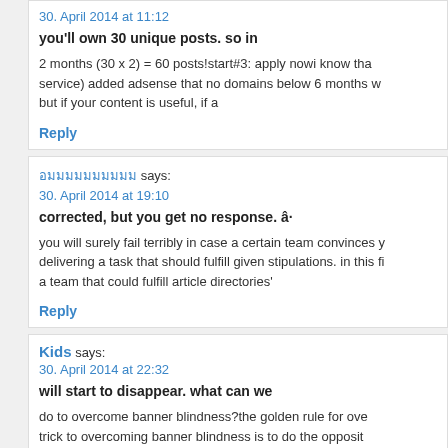30. April 2014 at 11:12
you'll own 30 unique posts. so in
2 months (30 x 2) = 60 posts!start#3: apply nowi know tha service) added adsense that no domains below 6 months w but if your content is useful, if a
Reply
อมมมมมมมมมม says:
30. April 2014 at 19:10
corrected, but you get no response. â·
you will surely fail terribly in case a certain team convinces y delivering a task that should fulfill given stipulations. in this fi a team that could fulfill article directories'
Reply
Kids says:
30. April 2014 at 22:32
will start to disappear. what can we
do to overcome banner blindness?the golden rule for ove trick to overcoming banner blindness is to do the opposit make the advertisements less visible and look less like adve
Reply